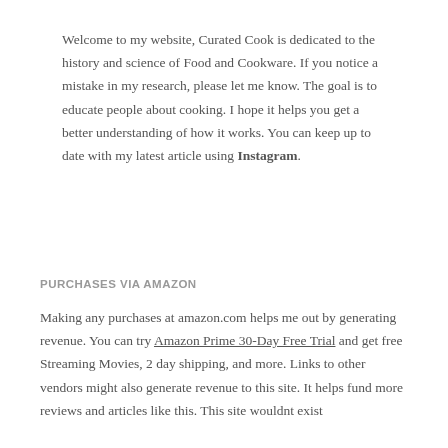Welcome to my website, Curated Cook is dedicated to the history and science of Food and Cookware. If you notice a mistake in my research, please let me know. The goal is to educate people about cooking. I hope it helps you get a better understanding of how it works. You can keep up to date with my latest article using Instagram.
PURCHASES VIA AMAZON
Making any purchases at amazon.com helps me out by generating revenue. You can try Amazon Prime 30-Day Free Trial and get free Streaming Movies, 2 day shipping, and more. Links to other vendors might also generate revenue to this site. It helps fund more reviews and articles like this. This site wouldnt exist